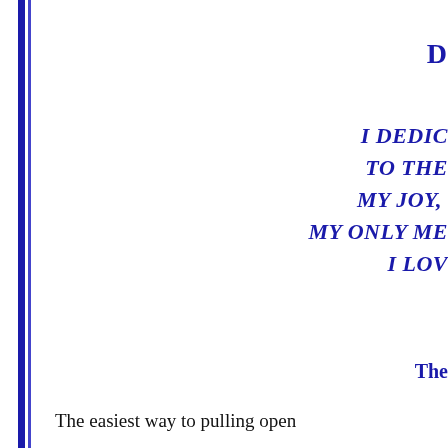D
I DEDIC
TO THE
MY JOY,
MY ONLY ME
I LOV
The
The easiest way to pulling open